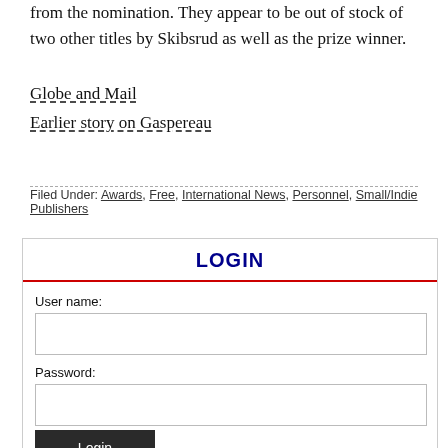from the nomination. They appear to be out of stock of two other titles by Skibsrud as well as the prize winner.
Globe and Mail
Earlier story on Gaspereau
Filed Under: Awards, Free, International News, Personnel, Small/Indie Publishers
Login
User name:
Password:
Login